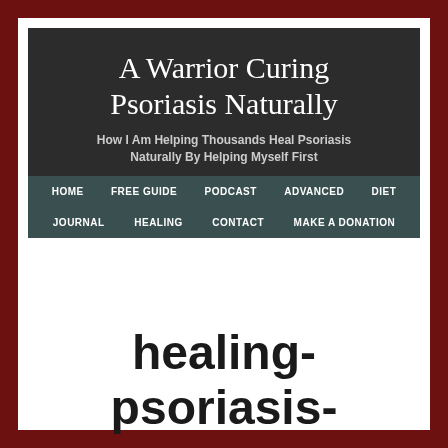A Warrior Curing Psoriasis Naturally
How I Am Helping Thousands Heal Psoriasis Naturally By Helping Myself First
HOME  FREE GUIDE  PODCAST  ADVANCED  DIET  JOURNAL  HEALING  CONTACT  MAKE A DONATION
healing-psoriasis-